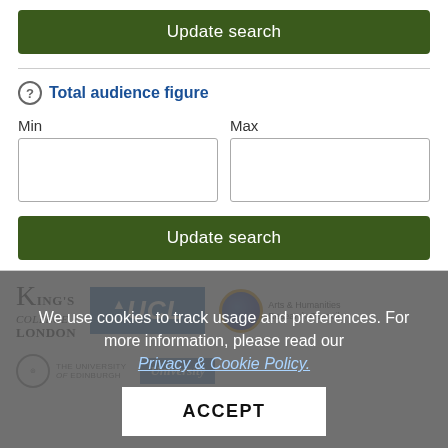Update search
Total audience figure
Min
Max
Update search
[Figure (logo): King's College London logo]
[Figure (logo): UCL logo]
[Figure (logo): Arts & Humanities Research Council logo]
We use cookies to track usage and preferences. For more information, please read our Privacy & Cookie Policy.
ACCEPT